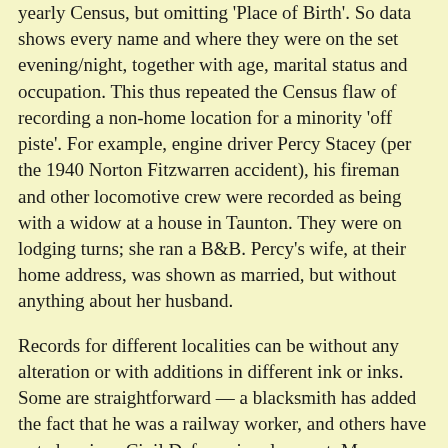yearly Census, but omitting 'Place of Birth'. So data shows every name and where they were on the set evening/night, together with age, marital status and occupation. This thus repeated the Census flaw of recording a non-home location for a minority 'off piste'. For example, engine driver Percy Stacey (per the 1940 Norton Fitzwarren accident), his fireman and other locomotive crew were recorded as being with a widow at a house in Taunton. They were on lodging turns; she ran a B&B. Percy's wife, at their home address, was shown as married, but without anything about her husband.
Records for different localities can be without any alteration or with additions in different ink or inks. Some are straightforward — a blacksmith has added the fact that he was a railway worker, and others have noted various Civil Defence involvement. Many are noted as fit for manual or heavy manual work. In other cases women who were single in September 1939 have a married name added and sometimes also a wedding date. But I can't recall seeing new addresses. David Thomas
Rapides over London